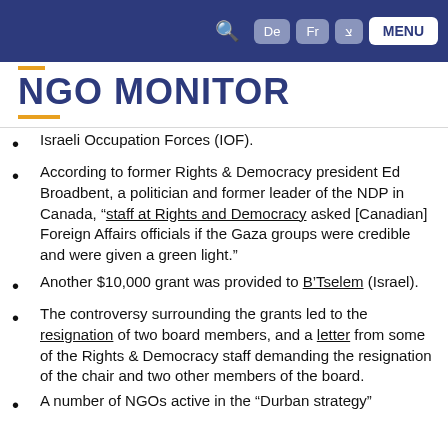De  Fr  Y  MENU (navigation bar)
NGO MONITOR
Israeli Occupation Forces (IOF).
According to former Rights & Democracy president Ed Broadbent, a politician and former leader of the NDP in Canada, “staff at Rights and Democracy asked [Canadian] Foreign Affairs officials if the Gaza groups were credible and were given a green light.”
Another $10,000 grant was provided to B’Tselem (Israel).
The controversy surrounding the grants led to the resignation of two board members, and a letter from some of the Rights & Democracy staff demanding the resignation of the chair and two other members of the board.
A number of NGOs active in the “Durban strategy”